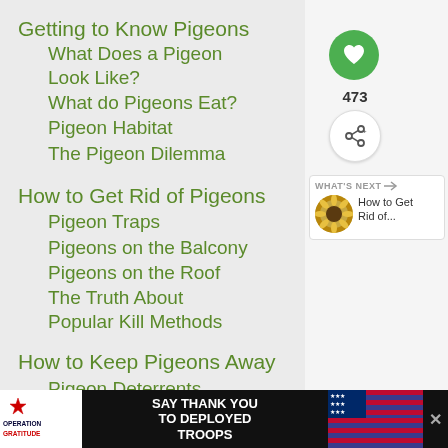Getting to Know Pigeons
What Does a Pigeon Look Like?
What do Pigeons Eat?
Pigeon Habitat
The Pigeon Dilemma
How to Get Rid of Pigeons
Pigeon Traps
Pigeons on the Balcony
Pigeons on the Roof
The Truth About Popular Kill Methods
How to Keep Pigeons Away
Pigeon Deterrents
[Figure (screenshot): UI sidebar with heart/like button (473 likes), share button, and a 'What's Next' card showing 'How to Get Rid of...' article]
[Figure (screenshot): Advertisement banner: Operation Gratitude 'SAY THANK YOU TO DEPLOYED TROOPS' with patriotic imagery]